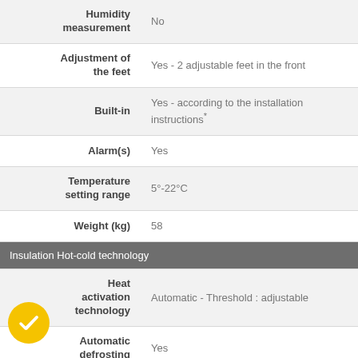| Feature | Value |
| --- | --- |
| Humidity measurement | No |
| Adjustment of the feet | Yes - 2 adjustable feet in the front |
| Built-in | Yes - according to the installation instructions* |
| Alarm(s) | Yes |
| Temperature setting range | 5°-22°C |
| Weight (kg) | 58 |
| Insulation Hot-cold technology |  |
| Heat activation technology | Automatic - Threshold : adjustable |
| Automatic defrosting | Yes |
| Type of insulation | Polyurethane (PU) foam |